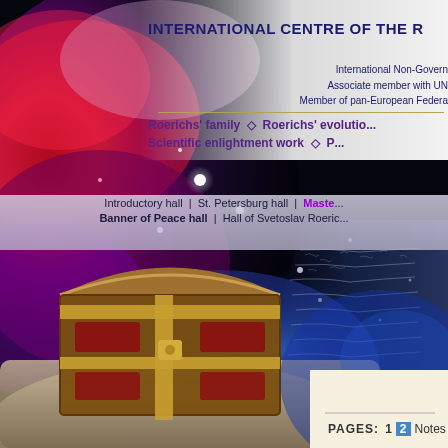[Figure (illustration): Cosmic nebula background with deep space stars and colorful gas clouds in reds, purples, blues; overlaid with a painting of an antique treasure chest on a stone surface, and ancient script manuscript on the right side.]
INTERNATIONAL CENTRE OF THE R
International Non-Govern
Associate member with UN
Member of pan-European Federa
Roerichs' family  ◇  Roerichs' evolutio...
Scientific enlightment work  ◇  P...
Introductory hall  |  St. Petersburg hall  |  Maste...
Banner of Peace hall  |  Hall of Svetoslav Roeric...
PAGES:  1  2  Notes